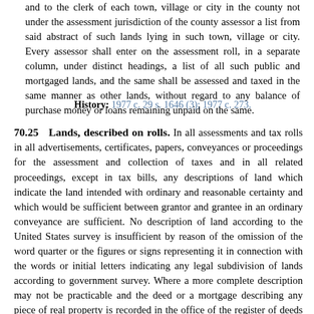and to the clerk of each town, village or city in the county not under the assessment jurisdiction of the county assessor a list from said abstract of such lands lying in such town, village or city. Every assessor shall enter on the assessment roll, in a separate column, under distinct headings, a list of all such public and mortgaged lands, and the same shall be assessed and taxed in the same manner as other lands, without regard to any balance of purchase money or loans remaining unpaid on the same.
History: 1977 c. 29 s. 1646 (3); 1977 c. 273.
70.25   Lands, described on rolls.
In all assessments and tax rolls in all advertisements, certificates, papers, conveyances or proceedings for the assessment and collection of taxes and in all related proceedings, except in tax bills, any descriptions of land which indicate the land intended with ordinary and reasonable certainty and which would be sufficient between grantor and grantee in an ordinary conveyance are sufficient. No description of land according to the United States survey is insufficient by reason of the omission of the word quarter or the figures or signs representing it in connection with the words or initial letters indicating any legal subdivision of lands according to government survey. Where a more complete description may not be practicable and the deed or a mortgage describing any piece of real property is recorded in the office of the register of deeds for the county, an abbreviated description including the volume and page where recorded, and the section, village or city where the property is located is sufficient. Where a more complete